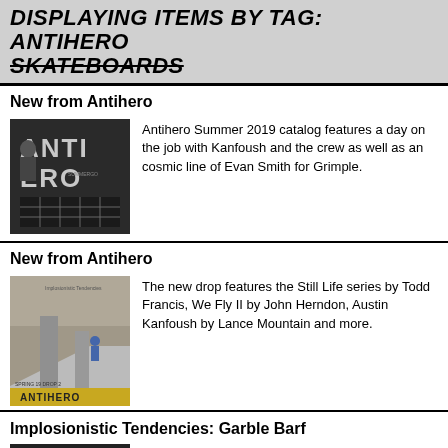DISPLAYING ITEMS BY TAG: ANTIHERO SKATEBOARDS
New from Antihero
[Figure (photo): Black and white photo of Antihero Skateboards Summer 2019 catalog cover showing 'ANTI HERO' text and a person]
Antihero Summer 2019 catalog features a day on the job with Kanfoush and the crew as well as an cosmic line of Evan Smith for Grimple.
New from Antihero
[Figure (photo): Photo of skateboarder on concrete structure with 'SPRING 19 DROP 2' and 'ANTIHERO' banner at bottom]
The new drop features the Still Life series by Todd Francis, We Fly II by John Herndon, Austin Kanfoush by Lance Mountain and more.
Implosionistic Tendencies: Garble Barf
[Figure (photo): Dark photo with text 'Implosionistic Tendencies' and 'GARBLE BARF']
TRAMPLED EARTH. CEMENT PONDS. THE